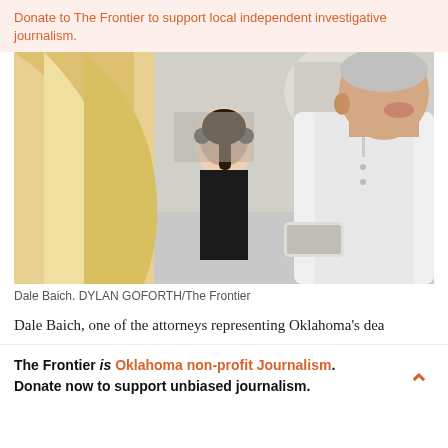Donate to The Frontier to support local independent investigative journalism.
[Figure (photo): Dale Baich, an attorney, speaking with someone outdoors. A woman with dark hair and headphones is visible in the background. The man is wearing a white button-down shirt and holding a smartphone.]
Dale Baich. DYLAN GOFORTH/The Frontier
Dale Baich, one of the attorneys representing Oklahoma's dea
The Frontier is Oklahoma non-profit Journalism. Donate now to support unbiased journalism.